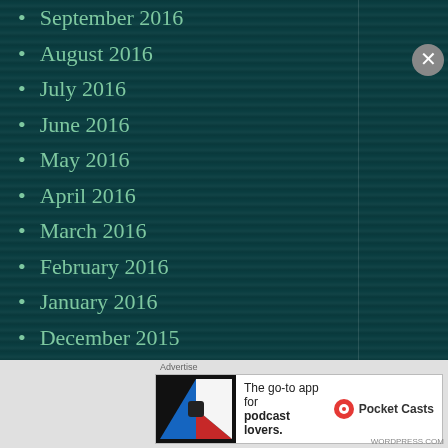September 2016
August 2016
July 2016
June 2016
May 2016
April 2016
March 2016
February 2016
January 2016
December 2015
November 2015
October 2015
September 2015
Advertise
[Figure (illustration): Pocket Casts advertisement banner: app logo on dark background, text 'The go-to app for podcast lovers.' with Pocket Casts logo and brand name]